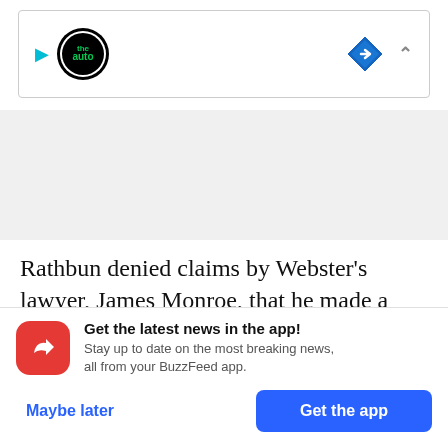[Figure (screenshot): Ad banner with auto logo, blue navigation diamond icon, and chevron up]
[Figure (other): Gray advertisement placeholder area]
Rathbun denied claims by Webster's lawyer, James Monroe, that he made a hand gesture inviting Webster to fight him and then punched Webster in the face, unprovoked except for verbal abuse.
[Figure (screenshot): BuzzFeed app notification prompt with red icon, headline 'Get the latest news in the app!', subtext, Maybe later and Get the app buttons]